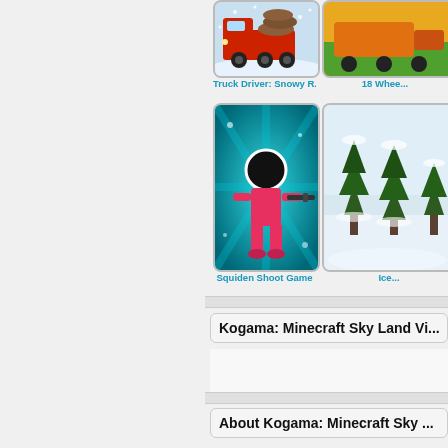[Figure (screenshot): Game thumbnail for Truck Driver: Snowy R... showing a red truck in snowy conditions]
Truck Driver: Snowy R...
[Figure (screenshot): Partial game thumbnail for 18 Wheel... showing outdoor scene]
18 Whee...
[Figure (screenshot): Game thumbnail for Squiden Shoot Game showing a pink squid game character holding a gun on teal background]
Squiden Shoot Game
[Figure (screenshot): Partial game thumbnail for Ice... showing a snowy forest scene]
Ice...
Kogama: Minecraft Sky Land Vi...
About Kogama: Minecraft Sky ...